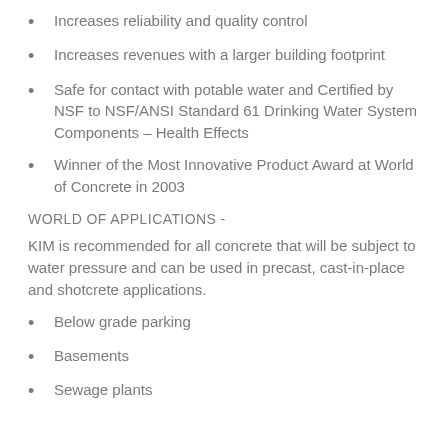Increases reliability and quality control
Increases revenues with a larger building footprint
Safe for contact with potable water and Certified by NSF to NSF/ANSI Standard 61 Drinking Water System Components – Health Effects
Winner of the Most Innovative Product Award at World of Concrete in 2003
WORLD OF APPLICATIONS -
KIM is recommended for all concrete that will be subject to water pressure and can be used in precast, cast-in-place and shotcrete applications.
Below grade parking
Basements
Sewage plants